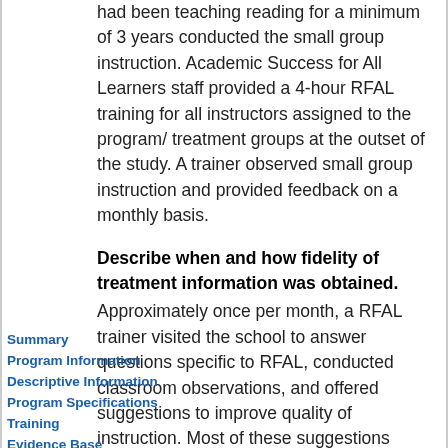had been teaching reading for a minimum of 3 years conducted the small group instruction. Academic Success for All Learners staff provided a 4-hour RFAL training for all instructors assigned to the program/ treatment groups at the outset of the study. A trainer observed small group instruction and provided feedback on a monthly basis.
Describe when and how fidelity of treatment information was obtained.
Approximately once per month, a RFAL trainer visited the school to answer questions specific to RFAL, conducted classroom observations, and offered suggestions to improve quality of instruction. Most of these suggestions applied equally to both RFAL and ERI reading groups, as they involved pacing, error correction, academic feedback, frequency of group choral individual responses, and other
Summary
Program Information
Descriptive Information
Program Specifications
Training
Evidence Base
Study Information